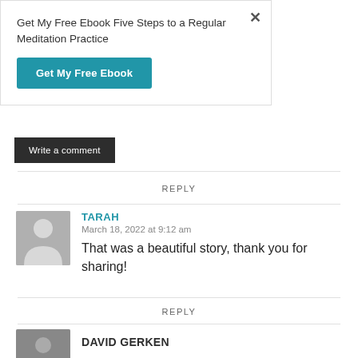Get My Free Ebook Five Steps to a Regular Meditation Practice
[Figure (other): Blue button labeled 'Get My Free Ebook']
[Figure (other): Dark button labeled 'Write a comment']
REPLY
[Figure (other): Grey silhouette avatar for user Tarah]
TARAH
March 18, 2022 at 9:12 am
That was a beautiful story, thank you for sharing!
REPLY
[Figure (photo): Photo avatar for David Gerken]
DAVID GERKEN